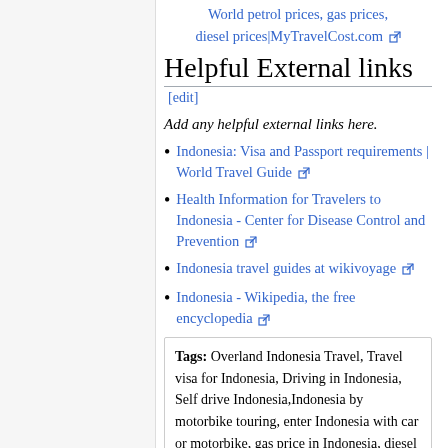World petrol prices, gas prices, diesel prices|MyTravelCost.com
Helpful External links
[edit]
Add any helpful external links here.
Indonesia: Visa and Passport requirements | World Travel Guide
Health Information for Travelers to Indonesia - Center for Disease Control and Prevention
Indonesia travel guides at wikivoyage
Indonesia - Wikipedia, the free encyclopedia
Tags: Overland Indonesia Travel, Travel visa for Indonesia, Driving in Indonesia, Self drive Indonesia,Indonesia by motorbike touring, enter Indonesia with car or motorbike, gas price in Indonesia, diesel price in Indonesia, driving rental car in Indonesia, car insurance in